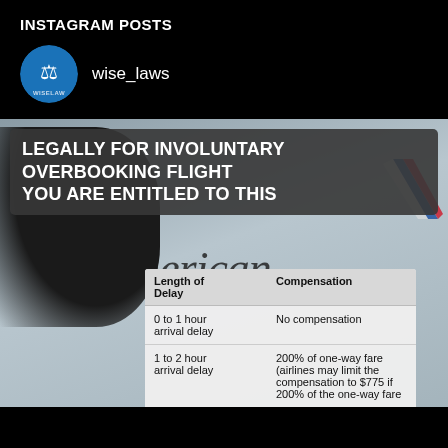INSTAGRAM POSTS
wise_laws
[Figure (screenshot): Instagram post screenshot showing an American Airlines background with a person, an overlay title reading 'LEGALLY FOR INVOLUNTARY OVERBOOKING FLIGHT YOU ARE ENTITLED TO THIS', and a table showing compensation by length of delay. Rows include: 0 to 1 hour arrival delay - No compensation; 1 to 2 hour arrival delay - 200% of one-way fare (airlines may limit the compensation to $775 if 200% of the one-way fare...]
| Length of Delay | Compensation |
| --- | --- |
| 0 to 1 hour arrival delay | No compensation |
| 1 to 2 hour arrival delay | 200% of one-way fare (airlines may limit the compensation to $775 if 200% of the one-way fare |